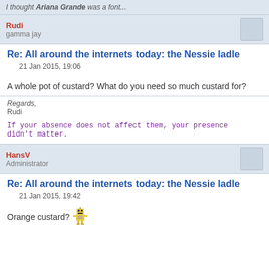I thought Ariana Grande was a font...
Rudi
gamma jay
Re: All around the internets today: the Nessie ladle
21 Jan 2015, 19:06
A whole pot of custard? What do you need so much custard for?
Regards,
Rudi
If your absence does not affect them, your presence didn't matter.
HansV
Administrator
Re: All around the internets today: the Nessie ladle
21 Jan 2015, 19:42
Orange custard?